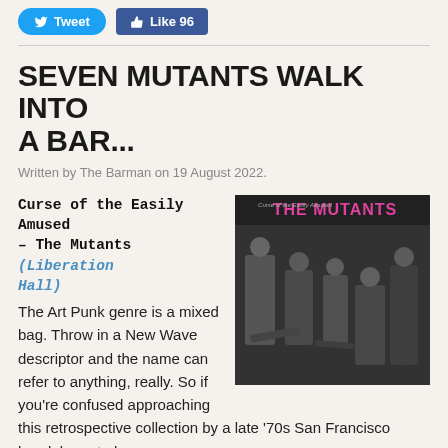Tweet | Like 96
SEVEN MUTANTS WALK INTO A BAR...
Written by The Barman on 19 August 2022.
Curse of the Easily Amused – The Mutants (Liberation Hall)
[Figure (photo): Album cover for 'Curse of the Easily Amused' by The Mutants on Liberation Hall. Black and white photo of band members in a room with instruments scattered around, with pink text 'THE MUTANTS' in top right corner.]
The Art Punk genre is a mixed bag. Throw in a New Wave descriptor and the name can refer to anything, really. So if you're confused approaching this retrospective collection by a late '70s San Francisco band, be not alone.
At last count there were enough bands using the name The